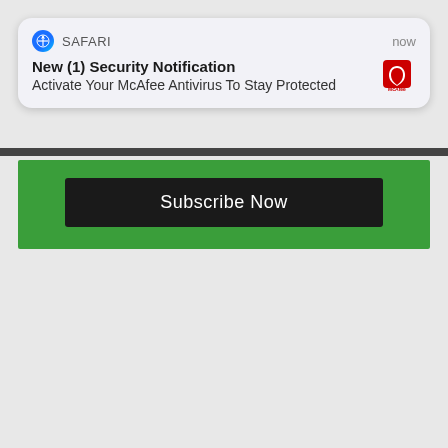[Figure (screenshot): Safari browser push notification showing McAfee security alert]
SAFARI   now
New (1) Security Notification
Activate Your McAfee Antivirus To Stay Protected
[Figure (screenshot): Green Subscribe Now button section]
Subscribe Now
AROUND THE WEB
Promoted  X
[Figure (photo): Fitness and spice advertisement image]
A Teaspoon On An Empty Stomach Burns Fat Like Crazy!
🔥 146,650
[Figure (photo): Dental implants advertisement image]
Here's What Same-Day Dental Implants Should Cost
🔥 7,869